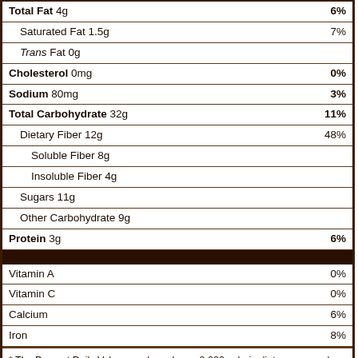| Nutrient | %DV |
| --- | --- |
| Total Fat 4g | 6% |
| Saturated Fat 1.5g | 7% |
| Trans Fat 0g |  |
| Cholesterol 0mg | 0% |
| Sodium 80mg | 3% |
| Total Carbohydrate 32g | 11% |
| Dietary Fiber 12g | 48% |
| Soluble Fiber 8g |  |
| Insoluble Fiber 4g |  |
| Sugars 11g |  |
| Other Carbohydrate 9g |  |
| Protein 3g | 6% |
| Vitamin A | 0% |
| Vitamin C | 0% |
| Calcium | 6% |
| Iron | 8% |
* The Percent Daily Values are based on a 2,000 calorie diet, so your values may change depending on your calorie needs. The values here may not be 100% accurate because the recipes have not been professionally evaluated nor have they been evaluated by the U.S. FDA.